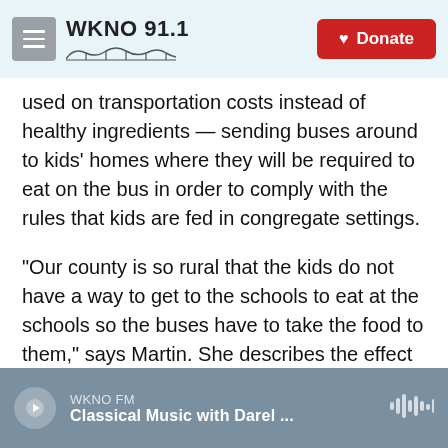WKNO 91.1 | Donate
used on transportation costs instead of healthy ingredients — sending buses around to kids' homes where they will be required to eat on the bus in order to comply with the rules that kids are fed in congregate settings.
"Our county is so rural that the kids do not have a way to get to the schools to eat at the schools so the buses have to take the food to them," says Martin. She describes the effect on her program as "catastrophic."
Bus drivers are in short supply around the country, gas prices have spiked, and inflation has led to
WKNO FM | Classical Music with Darel ...